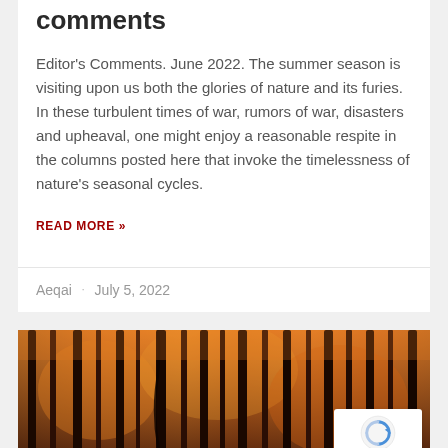comments
Editor's Comments. June 2022. The summer season is visiting upon us both the glories of nature and its furies. In these turbulent times of war, rumors of war, disasters and upheaval, one might enjoy a reasonable respite in the columns posted here that invoke the timelessness of nature's seasonal cycles.
READ MORE »
Aeqai · July 5, 2022
[Figure (illustration): Painting of a dense forest with tall dark tree trunks illuminated in warm orange and red autumn tones, appearing to glow from within.]